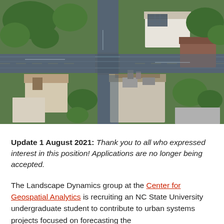[Figure (photo): Aerial photograph looking down at a flooded residential neighborhood with streets covered in water, houses, trees, and intersections visible from above.]
Update 1 August 2021: Thank you to all who expressed interest in this position! Applications are no longer being accepted.
The Landscape Dynamics group at the Center for Geospatial Analytics is recruiting an NC State University undergraduate student to contribute to urban systems projects focused on forecasting the